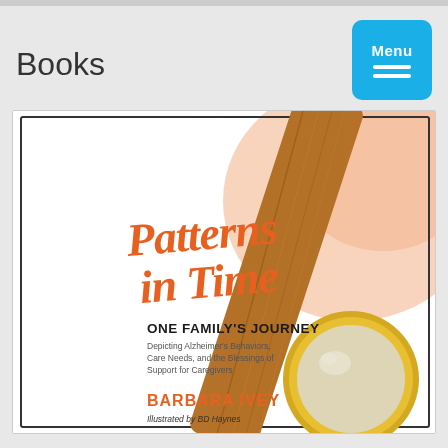Books
[Figure (illustration): Book cover for 'Patterns in Time: One Family's Journey' by Barbara Ivey, illustrated by BD Haynes. Cover shows orange script title 'Patterns in Time', subtitle 'ONE FAMILY'S JOURNEY', description text 'Depicting Alzheimer's Behaviors, Care Needs, and the Blessings of Support for Caregivers', author name 'BARBARA IVEY' in orange, and 'Illustrated by BD Haynes'. The illustration shows a wooden-handled magnifying glass with a yellow/gold rim on an orange and white background.]